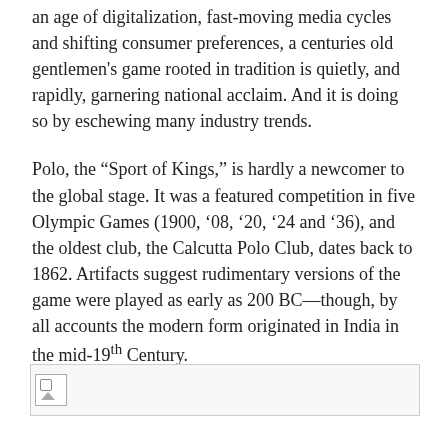an age of digitalization, fast-moving media cycles and shifting consumer preferences, a centuries old gentlemen's game rooted in tradition is quietly, and rapidly, garnering national acclaim. And it is doing so by eschewing many industry trends.
Polo, the “Sport of Kings,” is hardly a newcomer to the global stage. It was a featured competition in five Olympic Games (1900, ’08, ’20, ’24 and ’36), and the oldest club, the Calcutta Polo Club, dates back to 1862. Artifacts suggest rudimentary versions of the game were played as early as 200 BC—though, by all accounts the modern form originated in India in the mid-19th Century.
[Figure (photo): Broken/placeholder image at the bottom of the page]